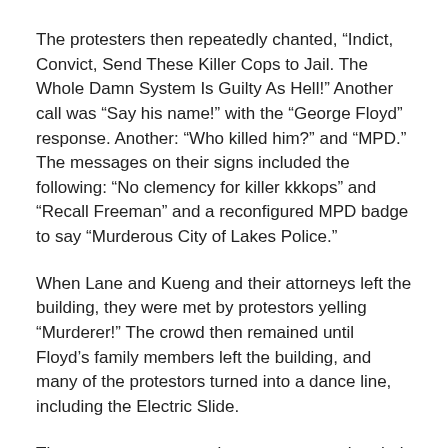The protesters then repeatedly chanted, “Indict, Convict, Send These Killer Cops to Jail. The Whole Damn System Is Guilty As Hell!” Another call was “Say his name!” with the “George Floyd” response. Another: “Who killed him?” and “MPD.” The messages on their signs included the following: “No clemency for killer kkkops” and “Recall Freeman” and a reconfigured MPD badge to say “Murderous City of Lakes Police.”
When Lane and Kueng and their attorneys left the building, they were met by protestors yelling “Murderer!” The crowd then remained until Floyd’s family members left the building, and many of the protestors turned into a dance line, including the Electric Slide.
The protestors apparently are not aware that their protests are ammunition for the defendants’ arguments for transferring the cases to another county, where